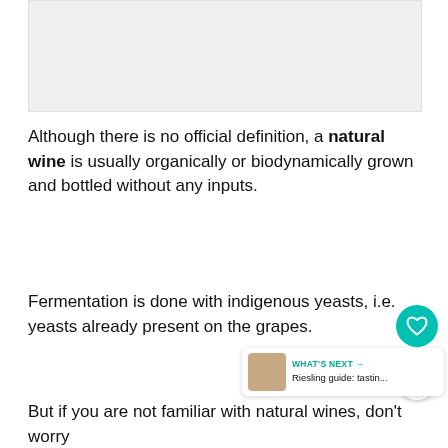[Figure (photo): Gray placeholder image area at the top of the page]
Although there is no official definition, a natural wine is usually organically or biodynamically grown and bottled without any inputs.
Fermentation is done with indigenous yeasts, i.e. yeasts already present on the grapes.
But if you are not familiar with natural wines, don't worry